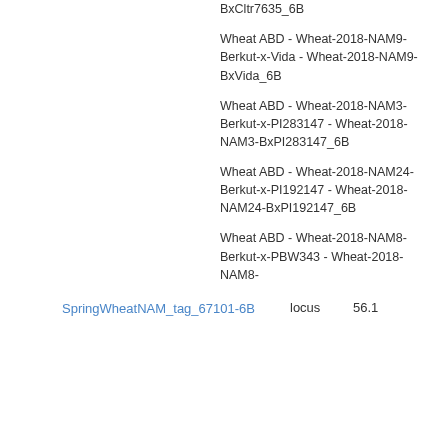Cltr7635 - Wheat-2018-NAM15-BxCltr7635_6B
Wheat ABD - Wheat-2018-NAM9-Berkut-x-Vida - Wheat-2018-NAM9-BxVida_6B
Wheat ABD - Wheat-2018-NAM3-Berkut-x-PI283147 - Wheat-2018-NAM3-BxPI283147_6B
SpringWheatNAM_tag_67101-6B
locus
56.1
Wheat ABD - Wheat-2018-NAM24-Berkut-x-PI192147 - Wheat-2018-NAM24-BxPI192147_6B
Wheat ABD - Wheat-2018-NAM8-Berkut-x-PBW343 - Wheat-2018-NAM8-